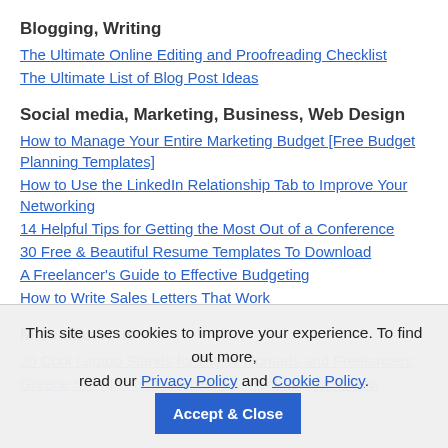Blogging, Writing
The Ultimate Online Editing and Proofreading Checklist
The Ultimate List of Blog Post Ideas
Social media, Marketing, Business, Web Design
How to Manage Your Entire Marketing Budget [Free Budget Planning Templates]
How to Use the LinkedIn Relationship Tab to Improve Your Networking
14 Helpful Tips for Getting the Most Out of a Conference
30 Free & Beautiful Resume Templates To Download
A Freelancer's Guide to Effective Budgeting
How to Write Sales Letters That Work
Miscellaneous
20 Cool Laptop Stands for Digital Nomads and Freelancers
Greece Startups on the Rise | MIT Technology Review
This site uses cookies to improve your experience. To find out more, read our Privacy Policy and Cookie Policy.